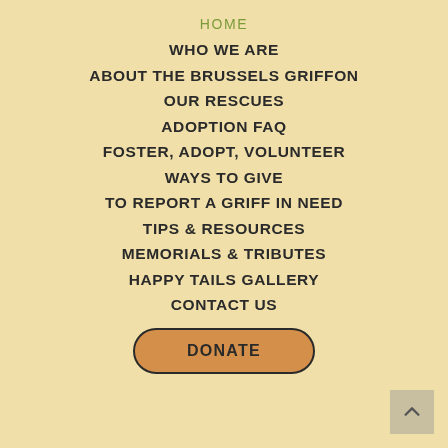HOME
WHO WE ARE
ABOUT THE BRUSSELS GRIFFON
OUR RESCUES
ADOPTION FAQ
FOSTER, ADOPT, VOLUNTEER
WAYS TO GIVE
TO REPORT A GRIFF IN NEED
TIPS & RESOURCES
MEMORIALS & TRIBUTES
HAPPY TAILS GALLERY
CONTACT US
DONATE